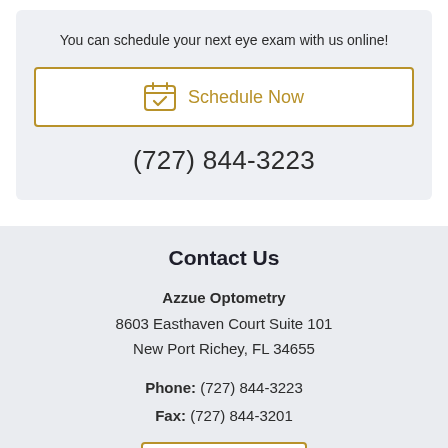You can schedule your next eye exam with us online!
[Figure (other): Schedule Now button with calendar icon and gold border]
(727) 844-3223
Contact Us
Azzue Optometry
8603 Easthaven Court Suite 101
New Port Richey, FL 34655
Phone: (727) 844-3223
Fax: (727) 844-3201
[Figure (other): Email Us button with gold border]